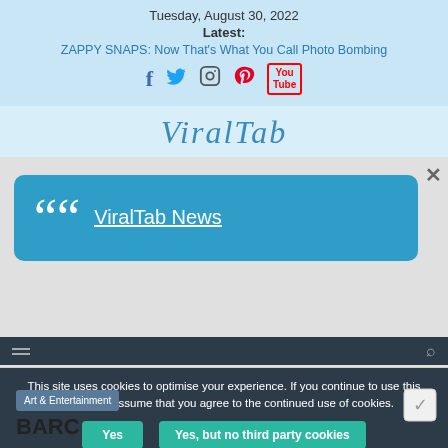Tuesday, August 30, 2022
Latest:
ZAPPY SNAPS: Now That's What You Call Photo Bombing
[Figure (infographic): Social media icons: Facebook, Twitter, Instagram, Pinterest, YouTube]
ViralTab
ViralTab News
This site uses cookies to optimise your experience. If you continue to use this site we will assume that you agree to the continued use of cookies.
Art & Entertainment
BARC